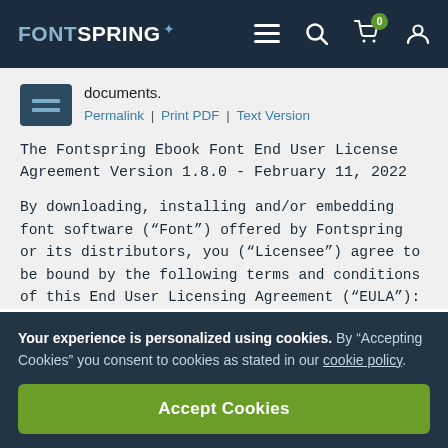FONTSPRING
documents.
Permalink | Print PDF | Text Version
The Fontspring Ebook Font End User License Agreement Version 1.8.0 - February 11, 2022
By downloading, installing and/or embedding font software (“Font”) offered by Fontspring or its distributors, you (“Licensee”) agree to be bound by the following terms and conditions of this End User Licensing Agreement (“EULA”):
Your experience is personalized using cookies. By “Accepting Cookies” you consent to cookies as stated in our cookie policy.